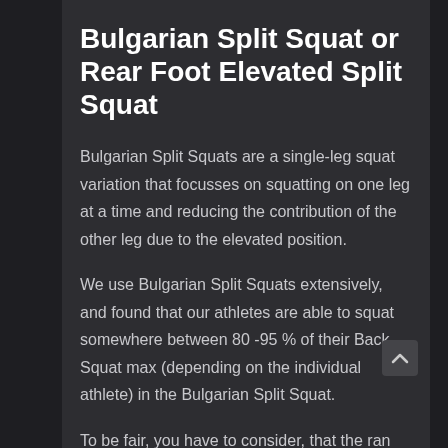Bulgarian Split Squat or Rear Foot Elevated Split Squat
Bulgarian Split Squats are a single-leg squat variation that focusses on squatting on one leg at a time and reducing the contribution of the other leg due to the elevated position.
We use Bulgarian Split Squats extensively, and found that our athletes are able to squat somewhere between 80 -95 % of their Back Squat max (depending on the individual athlete) in the Bulgarian Split Squat.
To be fair, you have to consider, that the range of motion in the Bulgarian Split Squat is less than in a Back Squat, so it's not a 100% fair comparison. However, with...